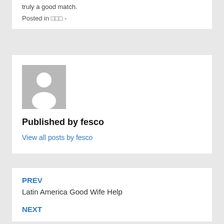truly a good match.
Posted in □□□ -
[Figure (illustration): Default avatar placeholder: grey square with white silhouette of a person (head and shoulders)]
Published by fesco
View all posts by fesco
PREV
Latin America Good Wife Help
NEXT